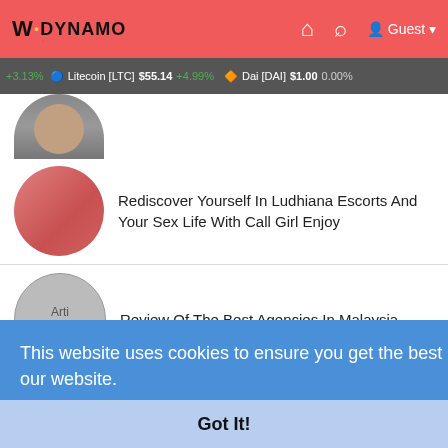Wodynamo — Guest
+3.13%  Litecoin [LTC]  $55.14  +4.99%  Dai [DAI]  $1.00  0.00%
Rediscover Yourself In Ludhiana Escorts And Your Sex Life With Call Girl Enjoy
Review Of The Best Agencies In Malaysia
How to create a BEP20 token with BUSD rewards?
This website uses cookies to ensure you get the best experience on our website.
Learn More
Got It!